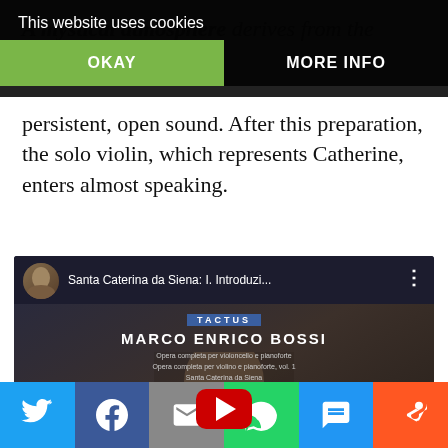[Figure (screenshot): Cookie consent banner overlay with 'This website uses cookies' text, OKAY button (green) and MORE INFO button on dark background]
A mystical atmosphere derives from the Introduction, a prolonged ringing of bells over a persistent, open sound. After this preparation, the solo violin, which represents Catherine, enters almost speaking.
[Figure (screenshot): YouTube video embed showing 'Santa Caterina da Siena: I. Introduzi...' by MARCO ENRICO BOSSI on TACTUS label, with play button overlay]
[Figure (screenshot): Social sharing bar with Twitter, Facebook, Email, WhatsApp, SMS, and Share buttons]